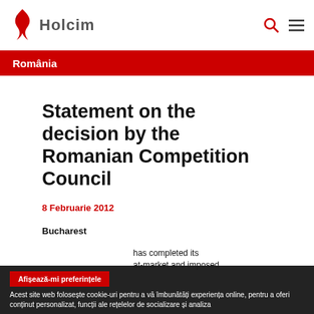Holcim România
România
Statement on the decision by the Romanian Competition Council
8 Februarie 2012
Bucharest
has completed its
at-market and imposed
Afișează-mi preferințele
Acest site web folosește cookie-uri pentru a vă îmbunătăți experiența online, pentru a oferi conținut personalizat, funcții ale rețelelor de socializare și analiza